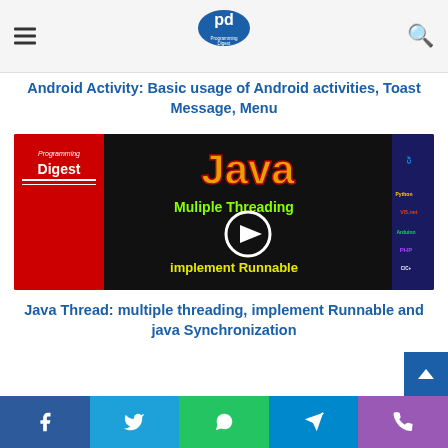Programming Digest
Android Activity: Basic usage of Android activities, Toast Message, Menu
[Figure (screenshot): Thumbnail image for 'Java Multiple Threading implement Runnable' video on Programming Digest channel, with a play button overlay. Red and black background with yellow/green text showing Java branding.]
Java Thread: multiple threading, implement Runnable and java Synchronization
Social sharing bar with Facebook, Twitter, WhatsApp, Telegram, Phone icons